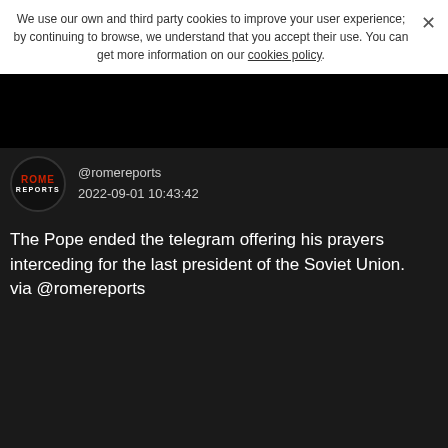We use our own and third party cookies to improve your user experience; by continuing to browse, we understand that you accept their use. You can get more information on our cookies policy.
@romereports
2022-09-01 10:43:42
The Pope ended the telegram offering his prayers interceding for the last president of the Soviet Union.
via @romereports
[Figure (photo): Video still of an elderly man (Mikhail Gorbachev) seated in front of a dark bookshelf, wearing a dark suit]